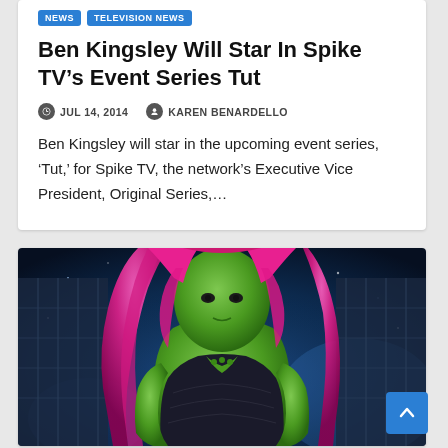NEWS   TELEVISION NEWS
Ben Kingsley Will Star In Spike TV’s Event Series Tut
JUL 14, 2014   KAREN BENARDELLO
Ben Kingsley will star in the upcoming event series, ‘Tut,’ for Spike TV, the network’s Executive Vice President, Original Series,…
[Figure (photo): Photo of a green-skinned female character with magenta/pink hair, wearing dark armor, set against a blue cosmic background. Likely Gamora from Guardians of the Galaxy.]